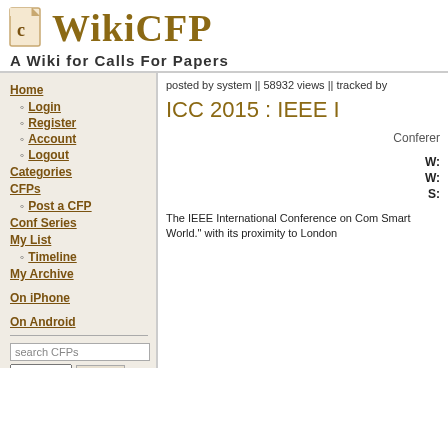[Figure (logo): WikiCFP logo with document icon and stylized text]
A Wiki for Calls For Papers
Home
Login
Register
Account
Logout
Categories
CFPs
Post a CFP
Conf Series
My List
Timeline
My Archive
On iPhone
On Android
posted by system || 58932 views || tracked by
ICC 2015 : IEEE I
Conferer
W:
W:
S:
The IEEE International Conference on Com Smart World." with its proximity to London